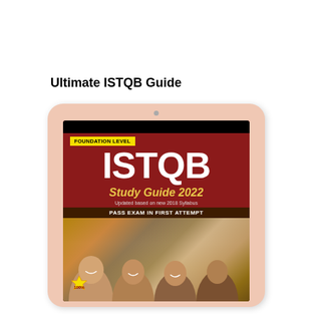Ultimate ISTQB Guide
[Figure (illustration): An iPad/tablet device displaying the cover of the 'ISTQB Foundation Level Study Guide 2022' book. The book cover has a dark red background with 'FOUNDATION LEVEL' in a yellow badge, 'ISTQB' in large white letters, 'Study Guide 2022' in gold italic text, 'Updated based on new 2018 Syllabus' in white, a dark brown bar reading 'PASS EXAM IN FIRST ATTEMPT', and a photo of smiling students at the bottom. A 100% badge is visible at the bottom left. The tablet has a rose-gold frame. A reCAPTCHA Privacy·Terms badge is visible at the bottom right corner of the page.]